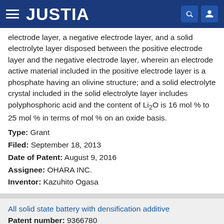JUSTIA
electrode layer, a negative electrode layer, and a solid electrolyte layer disposed between the positive electrode layer and the negative electrode layer, wherein an electrode active material included in the positive electrode layer is a phosphate having an olivine structure; and a solid electrolyte crystal included in the solid electrolyte layer includes polyphosphoric acid and the content of Li2O is 16 mol % to 25 mol % in terms of mol % on an oxide basis.
Type: Grant
Filed: September 18, 2013
Date of Patent: August 9, 2016
Assignee: OHARA INC.
Inventor: Kazuhito Ogasa
All solid state battery with densification additive
Patent number: 9366780